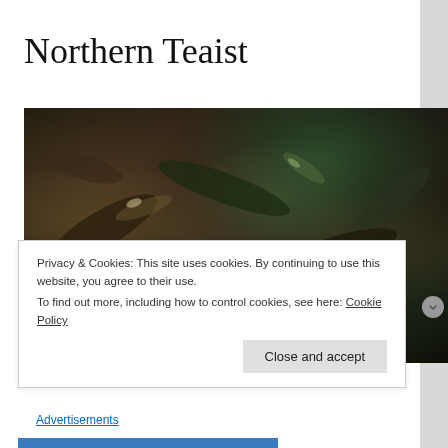Northern Teaist
[Figure (photo): Close-up photograph of dried tea leaves, dark twisted leaves with greenish and brownish tones against a dark background]
Privacy & Cookies: This site uses cookies. By continuing to use this website, you agree to their use.
To find out more, including how to control cookies, see here: Cookie Policy
Close and accept
Advertisements